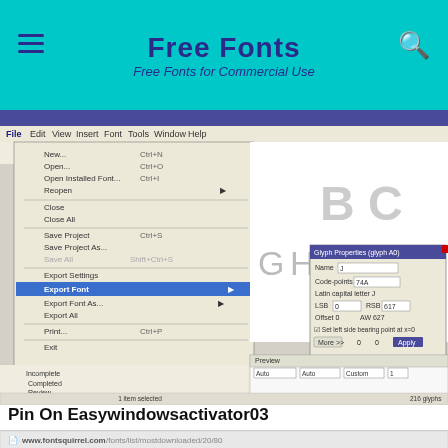Free Fonts
Free Fonts for Commercial Use
[Figure (screenshot): Screenshot of a font editor application (FontForge or similar) showing an open File menu with Export Font submenu expanded, revealing options: Export TrueType/OpenType Font (Shift+Ctrl+E), Export Web Font (WOFF) (Shift+Ctrl+W), Export All Formats (Shift+Ctrl+A). Behind the menu is a glyph grid showing letters A B C G H I J K L and a Glyph Properties dialog for glyph 'J' with code-point 74, Latin capital letter J. A Preview panel is open at the bottom.]
Pin On Easywindowsactivator03
[Figure (screenshot): Screenshot of a browser showing www.fontsquirrel.com/fonts/list/mostdownloaded/20/80 with bookmarks bar visible (Add to Olioboard, https://pubops.ev, https://www.dropl, Stumble, Add to Ideabook, http://rwardog). Below is a decorative font preview showing ornamental swirl/flourish characters. A back-to-top arrow icon is visible on the right.]